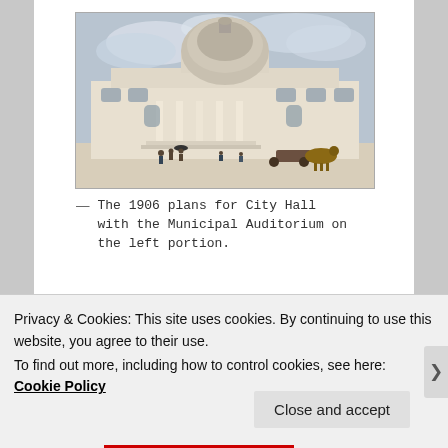[Figure (illustration): Watercolor or painted illustration of a large domed classical government building (City Hall) with columns and arched windows, with figures and horse-drawn carriages in the foreground, under a cloudy blue sky.]
— The 1906 plans for City Hall with the Municipal Auditorium on the left portion.
Privacy & Cookies: This site uses cookies. By continuing to use this website, you agree to their use.
To find out more, including how to control cookies, see here: Cookie Policy